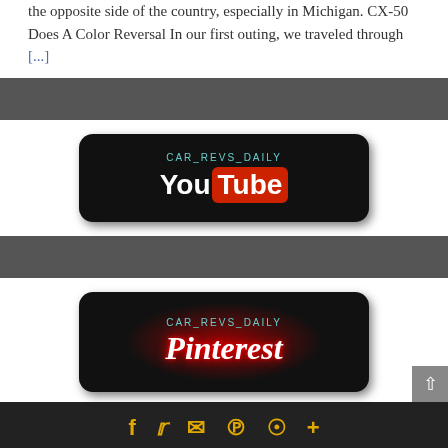the opposite side of the country, especially in Michigan. CX-50 Does A Color Reversal In our first outing, we traveled through [...]
[Figure (logo): CAR_REVS_DAILY YouTube banner logo on black rounded rectangle background]
[Figure (logo): CAR_REVS_DAILY Pinterest banner logo on black rounded rectangle with red glow]
Social media icons: Facebook, Twitter, Email, Pinterest, WhatsApp, More